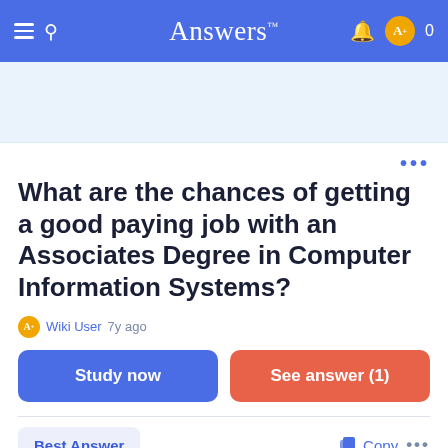Answers™
What are the chances of getting a good paying job with an Associates Degree in Computer Information Systems?
Wiki User 7y ago
Study now
See answer (1)
Best Answer
Copy